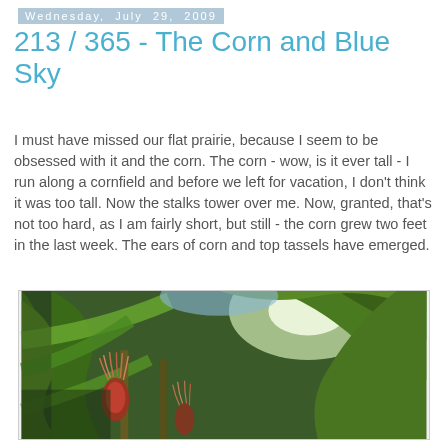Wednesday, July 29, 2009
213 / 365 - The Corn and Blue Sky
I must have missed our flat prairie, because I seem to be obsessed with it and the corn. The corn - wow, is it ever tall - I run along a cornfield and before we left for vacation, I don't think it was too tall. Now the stalks tower over me. Now, granted, that's not too hard, as I am fairly short, but still - the corn grew two feet in the last week. The ears of corn and top tassels have emerged.
[Figure (photo): Close-up photograph of corn plants with large green leaves, young ears of corn with red silks visible among the stalks, sunlight filtering through the leaves.]